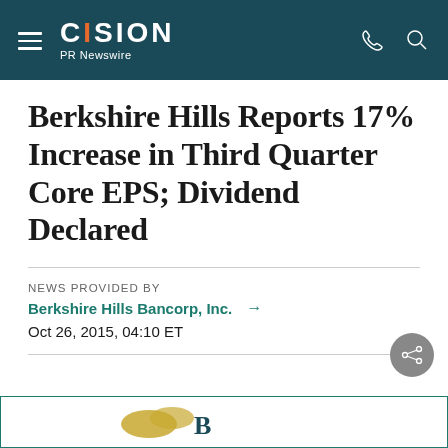CISION PR Newswire
Berkshire Hills Reports 17% Increase in Third Quarter Core EPS; Dividend Declared
NEWS PROVIDED BY
Berkshire Hills Bancorp, Inc. →
Oct 26, 2015, 04:10 ET
[Figure (logo): Berkshire Hills Bancorp logo, partially visible at bottom of page]